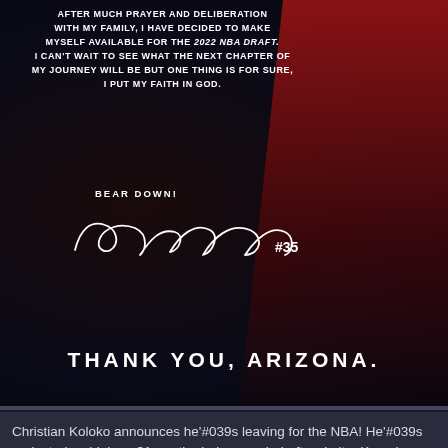[Figure (photo): Dark background promotional image for Christian Koloko's NBA Draft announcement with athlete silhouette on right side in red lighting. Text overlay reads announcement statement and 'THANK YOU, ARIZONA.' with signature.]
Christian Koloko announces he'#039s leaving for the NBA! He'#039s projected as high as 31 per the below mock draft website. Keep in mind that Koloko says he'#039s making himself available for the draf...
Read More | Write Commen
Welcome guest! Please take a moment to register and become a member here at PPU. You'll get Free Premium content and more! CLICK HERE TO REGISTER. Beardown!!!